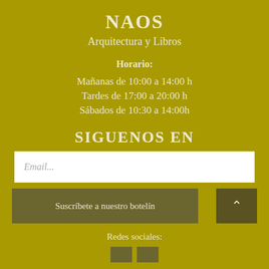NAOS
Arquitectura y Libros
Horario:
Mañanas de 10:00 a 14:00 h
Tardes de 17:00 a 20:00 h
Sábados de 10:30 a 14:00h
SIGUENOS EN
Email...
Suscríbete a nuestro botelín
Redes sociales: